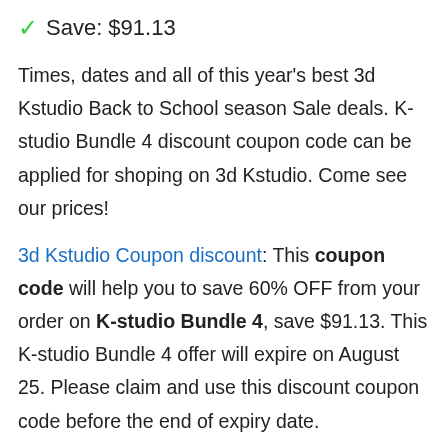✓ Save: $91.13
Times, dates and all of this year's best 3d Kstudio Back to School season Sale deals. K-studio Bundle 4 discount coupon code can be applied for shoping on 3d Kstudio. Come see our prices!
3d Kstudio Coupon discount: This coupon code will help you to save 60% OFF from your order on K-studio Bundle 4, save $91.13. This K-studio Bundle 4 offer will expire on August 25. Please claim and use this discount coupon code before the end of expiry date.
This offering discount is exclusively reserved for you in our VotedCoupon system until August 25. Offer is not